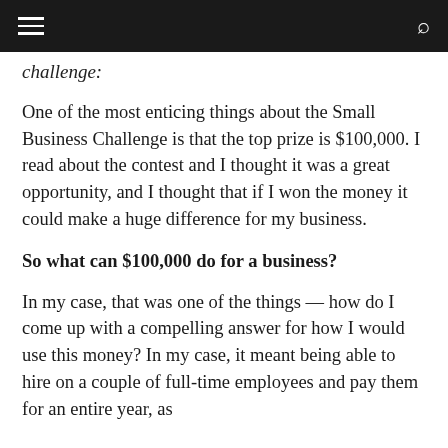≡  🔍
challenge:
One of the most enticing things about the Small Business Challenge is that the top prize is $100,000. I read about the contest and I thought it was a great opportunity, and I thought that if I won the money it could make a huge difference for my business.
So what can $100,000 do for a business?
In my case, that was one of the things — how do I come up with a compelling answer for how I would use this money? In my case, it meant being able to hire on a couple of full-time employees and pay them for an entire year, as